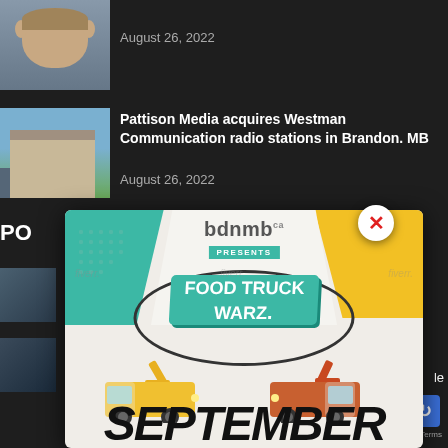[Figure (photo): Headshot photo of a man, partially visible at top left]
August 26, 2022
[Figure (photo): Photo of a building (Westman Communications building)]
Pattison Media acquires Westman Communication radio stations in Brandon. MB
August 26, 2022
PO
[Figure (screenshot): Modal advertisement overlay: bdnmb.ca presents Food Truck Warz, featuring illustrated food trucks, teal and yellow diagonal design. Large text SEPTEMBER at bottom. Close button (X) at top right of modal.]
SEPTEMBER